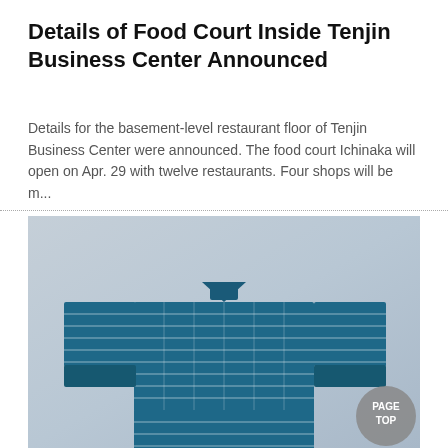Details of Food Court Inside Tenjin Business Center Announced
Details for the basement-level restaurant floor of Tenjin Business Center were announced. The food court Ichinaka will open on Apr. 29 with twelve restaurants. Four shops will be m...
[Figure (photo): A blue and white plaid Japanese kimono displayed on a light blue-grey gradient background, with a circular grey 'PAGE TOP' button overlay in the bottom right corner.]